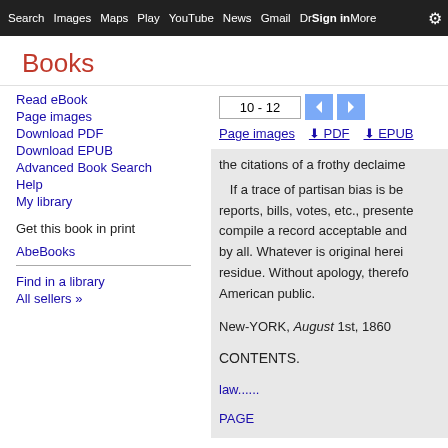Search  Images  Maps  Play  YouTube  News  Gmail  Drive  More  Sign in  ⚙
Books
10 - 12 [pagination]
Page images  ⬇ PDF  ⬇ EPUB
Read eBook
Page images
Download PDF
Download EPUB
Advanced Book Search
Help
My library
Get this book in print
AbeBooks
Find in a library
All sellers »
the citations of a frothy declaime
If a trace of partisan bias is be reports, bills, votes, etc., presente compile a record acceptable and by all. Whatever is original herei residue. Without apology, therefo American public.
New-YORK, August 1st, 1860
CONTENTS.
law......
PAGE